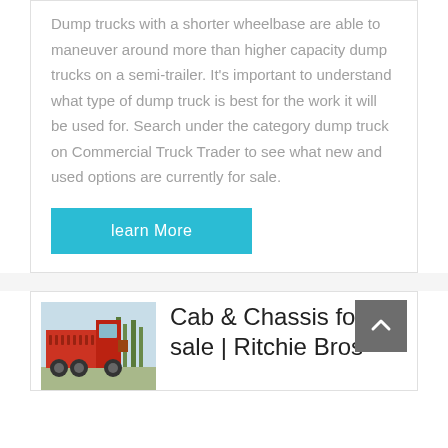Dump trucks with a shorter wheelbase are able to maneuver around more than higher capacity dump trucks on a semi-trailer. It's important to understand what type of dump truck is best for the work it will be used for. Search under the category dump truck on Commercial Truck Trader to see what new and used options are currently for sale.
learn More
[Figure (photo): Red dump truck parked outdoors, rear three-quarter view]
Cab & Chassis for sale | Ritchie Bros